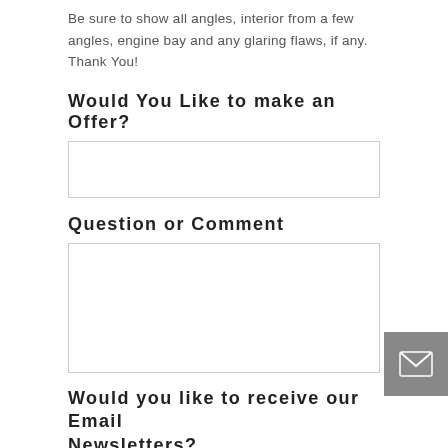Be sure to show all angles, interior from a few angles, engine bay and any glaring flaws, if any. Thank You!
Would You Like to make an Offer?
[input field]
Question or Comment
[textarea field]
Would you like to receive our Email Newsletters?
Yes Please!